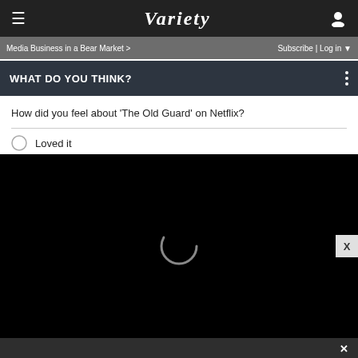Variety
Media Business in a Bear Market > Subscribe | Log in
WHAT DO YOU THINK?
How did you feel about 'The Old Guard' on Netflix?
Loved it
[Figure (screenshot): Black video player loading screen with a circular loading spinner in the center]
Open